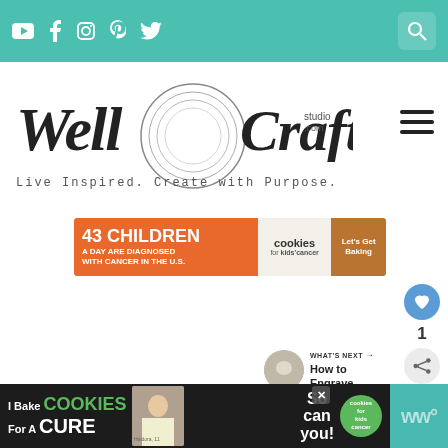Well Crafted Studio — Live Inspired. Create with Purpose.
[Figure (logo): Well Crafted Studio logo with decorative circle, script font, tagline: Live Inspired. Create with Purpose.]
[Figure (infographic): Cookies for Kids Cancer banner ad: '43 Children A Day Are Diagnosed With Cancer in the U.S. Let's Get Baking']
1
[Figure (infographic): What's Next: How to Engrave...]
[Figure (infographic): Bottom banner ad: I Bake Cookies For A CURE — So can you! cookies for kids cancer. Close button X. Haldora, 11 Cancer Survivor.]